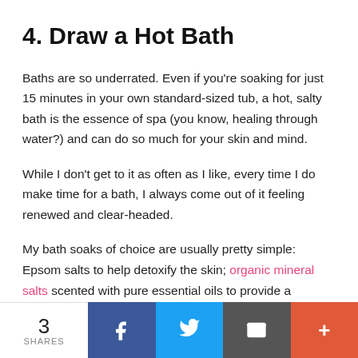4. Draw a Hot Bath
Baths are so underrated. Even if you're soaking for just 15 minutes in your own standard-sized tub, a hot, salty bath is the essence of spa (you know, healing through water?) and can do so much for your skin and mind.
While I don't get to it as often as I like, every time I do make time for a bath, I always come out of it feeling renewed and clear-headed.
My bath soaks of choice are usually pretty simple: Epsom salts to help detoxify the skin; organic mineral salts scented with pure essential oils to provide a
3 SHARES | Facebook | Twitter | Email | More